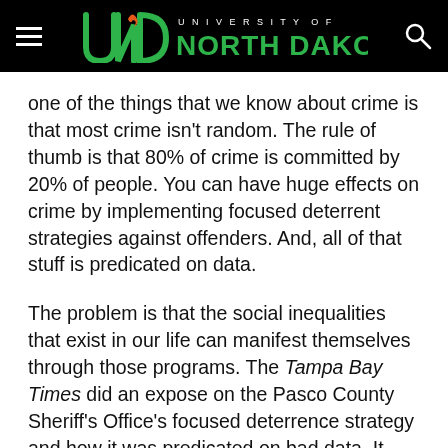University of North Dakota
one of the things that we know about crime is that most crime isn't random. The rule of thumb is that 80% of crime is committed by 20% of people. You can have huge effects on crime by implementing focused deterrent strategies against offenders. And, all of that stuff is predicated on data.
The problem is that the social inequalities that exist in our life can manifest themselves through those programs. The Tampa Bay Times did an expose on the Pasco County Sheriff's Office's focused deterrence strategy and how it was predicated on bad data. It ended up essentially being predatory and discriminatory in terms of its effect. That's one of the things that we have to deal with. At the end of the day, it's going to take social scientists and computer scientists working